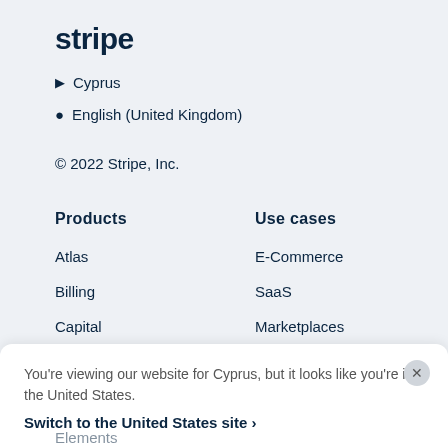stripe
Cyprus
English (United Kingdom)
© 2022 Stripe, Inc.
Products
Use cases
Atlas
E-Commerce
Billing
SaaS
Capital
Marketplaces
Checkout
Embedded Finance
Climate
Platforms
You're viewing our website for Cyprus, but it looks like you're in the United States.
Switch to the United States site ›
Elements